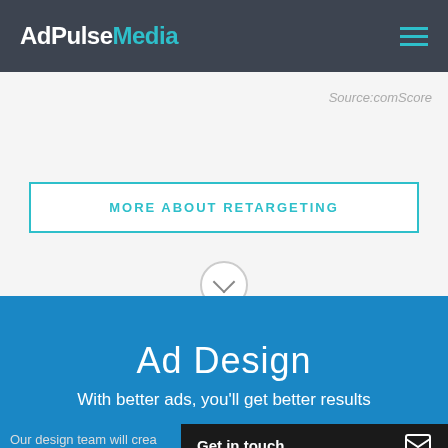AdPulseMedia
Source:comScore
MORE ABOUT RETARGETING
Ad Design
With better ads, you'll get better results
Our design team will crea
Get in touch